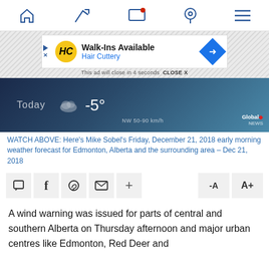Navigation bar with home, trending, screen, location, menu icons
[Figure (screenshot): Advertisement banner for Hair Cuttery: Walk-Ins Available. Yellow HC logo on left, blue navigation arrow icon on right. Ad close notice: 'This ad will close in 4 seconds CLOSE X']
[Figure (screenshot): Global News weather video thumbnail showing Today's forecast: -5 degrees, NW 50-90 km/h winds]
WATCH ABOVE: Here's Mike Sobel's Friday, December 21, 2018 early morning weather forecast for Edmonton, Alberta and the surrounding area – Dec 21, 2018
[Figure (screenshot): Social sharing toolbar with comment, Facebook, WhatsApp, email, plus, font decrease (-A) and font increase (A+) buttons]
A wind warning was issued for parts of central and southern Alberta on Thursday afternoon and major urban centres like Edmonton, Red Deer and